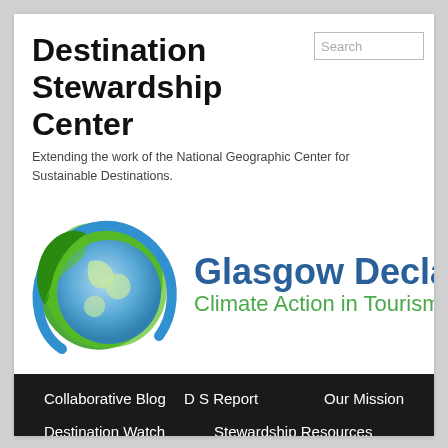Destination Stewardship Center
Extending the work of the National Geographic Center for Sustainable Destinations.
[Figure (logo): Destination Stewardship Center globe logo with green leaves and blue earth, accompanied by text 'Glasgow Declaration Climate Action in Tourism']
Collaborative Blog
D S Report
Our Mission
Destination Watch
Stewardship Resources
Geotourism
Geotravelers